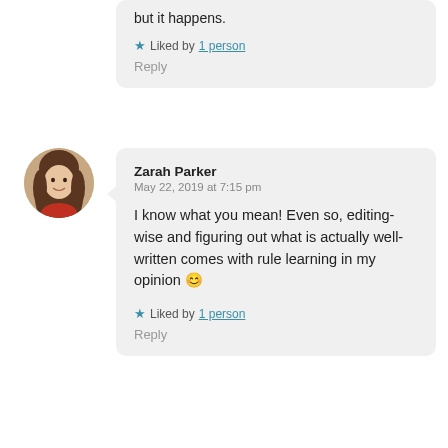but it happens.
Liked by 1 person
Reply
Zarah Parker
May 22, 2019 at 7:15 pm
I know what you mean! Even so, editing-wise and figuring out what is actually well-written comes with rule learning in my opinion 😊
Liked by 1 person
Reply